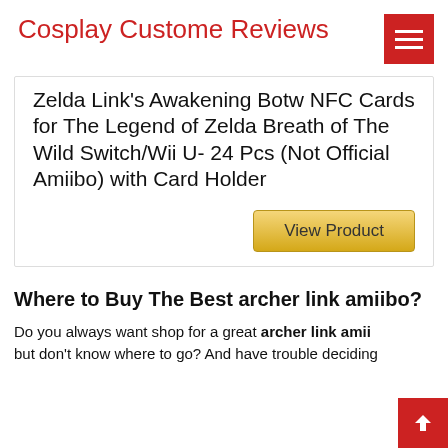Cosplay Custome Reviews
Zelda Link s Awakening Botw NFC Cards for The Legend of Zelda Breath of The Wild Switch/Wii U- 24 Pcs (Not Official Amiibo) with Card Holder
View Product
Where to Buy The Best archer link amiibo?
Do you always want shop for a great archer link amiibo but don't know where to go? And have trouble deciding